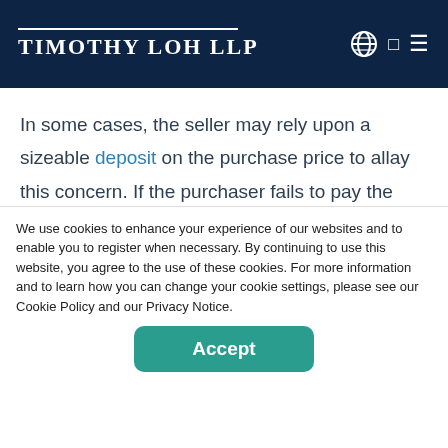Timothy Loh LLP
In some cases, the seller may rely upon a sizeable deposit on the purchase price to allay this concern. If the purchaser fails to pay the purchase price to complete the transaction, the seller will simply pocket the deposit and
We use cookies to enhance your experience of our websites and to enable you to register when necessary. By continuing to use this website, you agree to the use of these cookies. For more information and to learn how you can change your cookie settings, please see our Cookie Policy and our Privacy Notice.
Accept